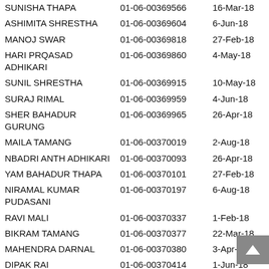| Name | ID | Date |
| --- | --- | --- |
| SUNISHA THAPA | 01-06-00369566 | 16-Mar-18 |
| ASHIMITA SHRESTHA | 01-06-00369604 | 6-Jun-18 |
| MANOJ SWAR | 01-06-00369818 | 27-Feb-18 |
| HARI PRQASAD ADHIKARI | 01-06-00369860 | 4-May-18 |
| SUNIL SHRESTHA | 01-06-00369915 | 10-May-18 |
| SURAJ RIMAL | 01-06-00369959 | 4-Jun-18 |
| SHER BAHADUR GURUNG | 01-06-00369965 | 26-Apr-18 |
| MAILA TAMANG | 01-06-00370019 | 2-Aug-18 |
| NBADRI ANTH ADHIKARI | 01-06-00370093 | 26-Apr-18 |
| YAM BAHADUR THAPA | 01-06-00370101 | 27-Feb-18 |
| NIRAMAL KUMAR PUDASANI | 01-06-00370197 | 6-Aug-18 |
| RAVI MALI | 01-06-00370337 | 1-Feb-18 |
| BIKRAM TAMANG | 01-06-00370377 | 22-Mar-18 |
| MAHENDRA DARNAL | 01-06-00370380 | 3-Apr-18 |
| DIPAK RAI | 01-06-00370414 | 1-Jun-18 |
| RENU PANDEY | 01-06-00370713 | 27-Jun-18 |
| SHAMBHU PRADHAN | 01-06-00370725 | 21-May-18 |